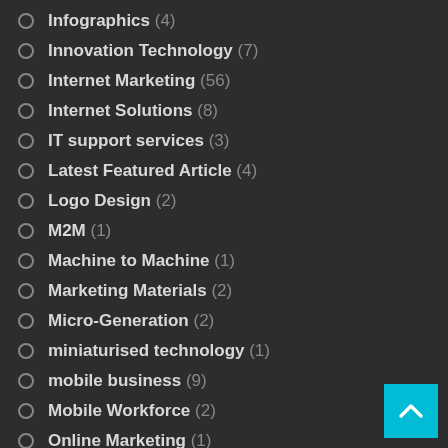Infographics (4)
Innovation Technology (7)
Internet Marketing (56)
Internet Solutions (8)
IT support services (3)
Latest Featured Article (4)
Logo Design (2)
M2M (1)
Machine to Machine (1)
Marketing Materials (2)
Micro-Generation (2)
miniaturised technology (1)
mobile business (9)
Mobile Workforce (2)
Online Marketing (1)
Online Resources (5)
Other Articles (1)
Payment Technology (1)
Printing Services (43)